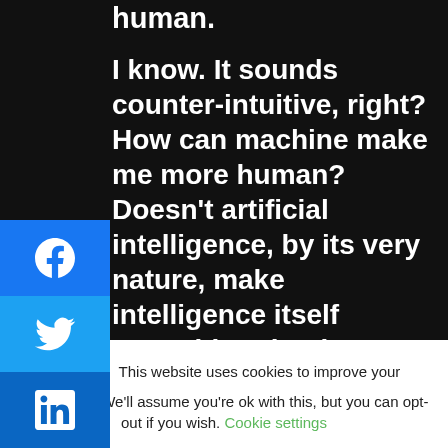human.
I know. It sounds counter-intuitive, right? How can machine make me more human? Doesn't artificial intelligence, by its very nature, make intelligence itself something that is no longer special and unique, but a replicable commodity?
Yes, but.. what AI taketh away, it giveth as well.
By focusing on the logical, analytical, left brain aspects of intelligence, AI gives us
[Figure (infographic): Social media share sidebar with Facebook (blue), Twitter (blue), LinkedIn (dark blue) icons, and a grey more (+) button]
ACCEPT  This website uses cookies to improve your experience. We'll assume you're ok with this, but you can opt-out if you wish. Cookie settings